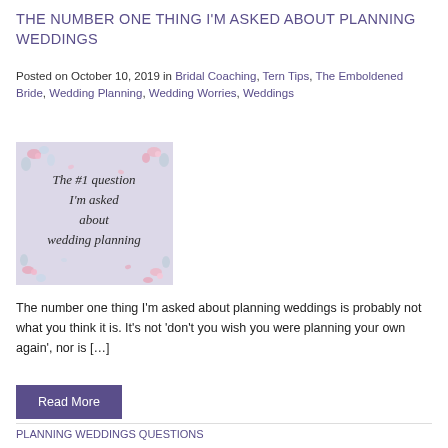THE NUMBER ONE THING I'M ASKED ABOUT PLANNING WEDDINGS
Posted on October 10, 2019 in Bridal Coaching, Tern Tips, The Emboldened Bride, Wedding Planning, Wedding Worries, Weddings
[Figure (illustration): Decorative floral image with cursive text reading 'The #1 question I'm asked about wedding planning' on a light purple/grey background with pink and blue flowers]
The number one thing I'm asked about planning weddings is probably not what you think it is. It's not 'don't you wish you were planning your own again', nor is […]
Read More
PLANNING WEDDINGS QUESTIONS